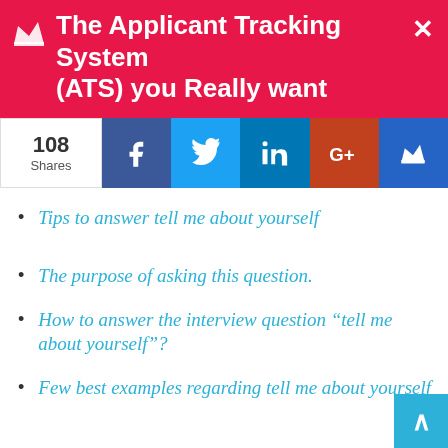The Applicant Tracking System (ATS) you Really want
108 Shares
Tips to answer tell me about yourself
The purpose of asking this question.
How to answer the interview question “tell me about yourself”?
Few best examples regarding tell me about yourself
How Not to Answer “Tell Me About Yourself”
How “tell me about yourself” question works